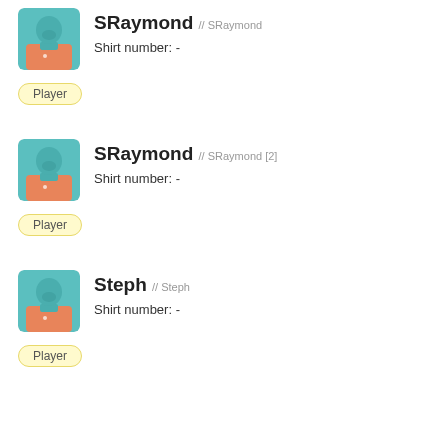[Figure (illustration): Player avatar: teal silhouette head on teal/orange jersey background, rounded rectangle frame]
SRaymond // SRaymond
Shirt number: -
Player
[Figure (illustration): Player avatar: teal silhouette head on teal/orange jersey background, rounded rectangle frame]
SRaymond // SRaymond [2]
Shirt number: -
Player
[Figure (illustration): Player avatar: teal silhouette head on teal/orange jersey background, rounded rectangle frame]
Steph // Steph
Shirt number: -
Player